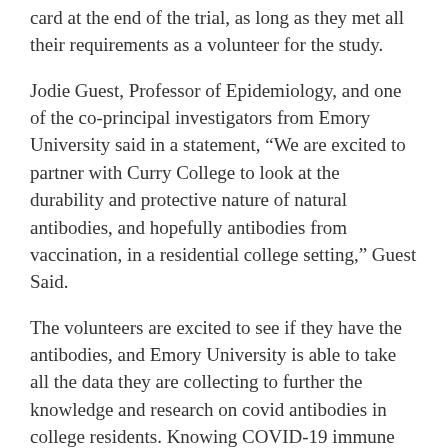card at the end of the trial, as long as they met all their requirements as a volunteer for the study.
Jodie Guest, Professor of Epidemiology, and one of the co-principal investigators from Emory University said in a statement, “We are excited to partner with Curry College to look at the durability and protective nature of natural antibodies, and hopefully antibodies from vaccination, in a residential college setting,” Guest Said.
The volunteers are excited to see if they have the antibodies, and Emory University is able to take all the data they are collecting to further the knowledge and research on covid antibodies in college residents. Knowing COVID-19 immune response and disease transmission on campus is important to the control strategies on campus.
Emory University has received more the $88 Million in federal grants to date to study COVID-19.
SHARE THIS:
SHARE   Print   Email